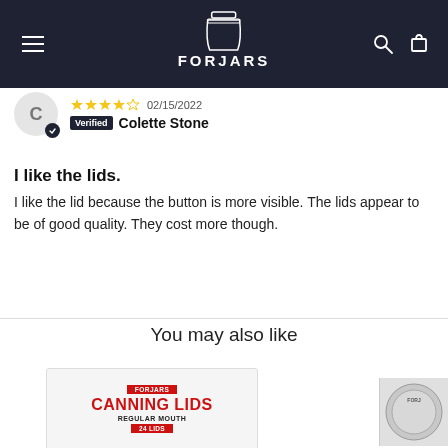FORJARS
02/15/2022
Verified Colette Stone
I like the lids.
I like the lid because the button is more visible. The lids appear to be of good quality. They cost more though.
You may also like
[Figure (photo): ForJars Canning Lids Regular Mouth 24 Lids product packaging]
[Figure (photo): Partial view of another ForJars product on the right edge]